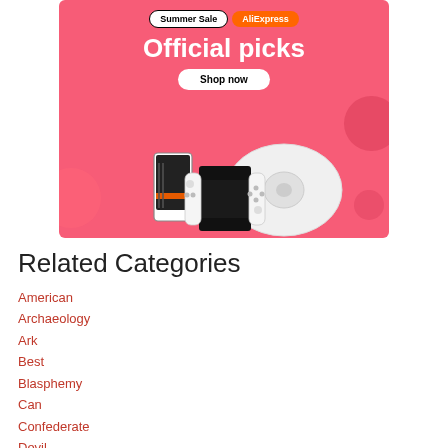[Figure (infographic): AliExpress Summer Sale advertisement banner with pink background. Shows 'Summer Sale' badge and 'AliExpress' orange pill badge. Large white text 'Official picks'. White pill button 'Shop now'. Product images: a robot vacuum cleaner, a smartphone, and a Nintendo Switch console.]
Related Categories
American
Archaeology
Ark
Best
Blasphemy
Can
Confederate
Devil